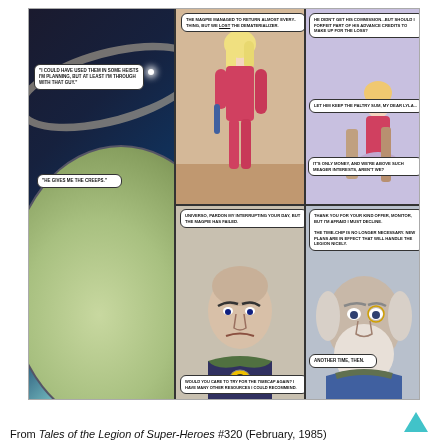[Figure (illustration): A comic book page from Tales of the Legion of Super-Heroes #320 (February, 1985). The page shows multiple panels: a large left panel with a space/planet scene, top-middle panel showing a blonde woman in a pink/red outfit with speech bubbles, top-right panel showing another woman seated, bottom-middle panel showing a bald older villain character, and bottom-right panel showing an old man with white beard. Speech bubbles contain dialogue about a magpie, a dematerializer, commission, advance credits, and plans against the Legion.]
From Tales of the Legion of Super-Heroes #320 (February, 1985)